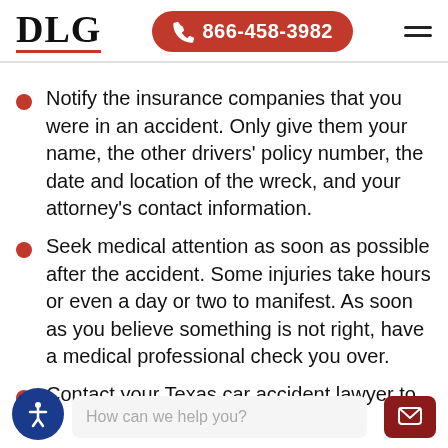DLG | 866-458-3982
Notify the insurance companies that you were in an accident. Only give them your name, the other drivers' policy number, the date and location of the wreck, and your attorney's contact information.
Seek medical attention as soon as possible after the accident. Some injuries take hours or even a day or two to manifest. As soon as you believe something is not right, have a medical professional check you over.
Contact your Texas car accident lawyer to